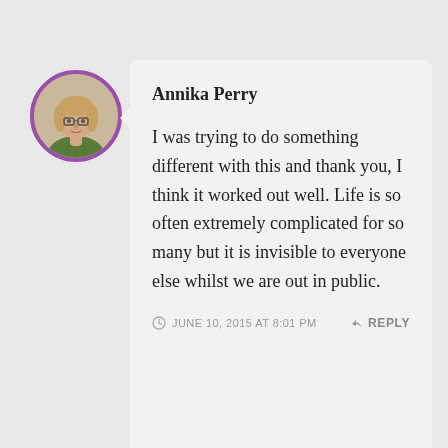[Figure (photo): Circular profile photo of Annika Perry, a woman with blonde hair and glasses, framed with a purple border]
Annika Perry
I was trying to do something different with this and thank you, I think it worked out well. Life is so often extremely complicated for so many but it is invisible to everyone else whilst we are out in public.
JUNE 10, 2015 AT 8:01 PM   REPLY